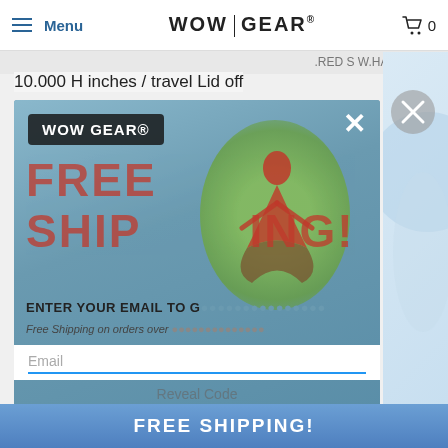Menu | WOW GEAR | 0
10.000 H inches / travel Lid off
[Figure (screenshot): WOW GEAR promotional modal popup with FREE SHIPPING text, yoga silhouette image, email input field, and close button. Background shows a product page.]
Email
Reveal Code
Share:
Collections: WOW GEAR Sports
Type: Sports
By submitting this form you are signing up to receive our emails and can unsubscribe at any time.
FREE SHIPPING!